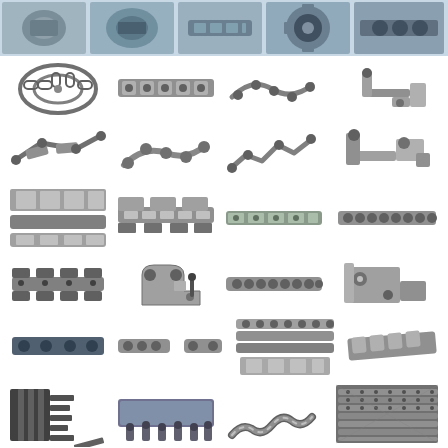[Figure (photo): Banner row of industrial chain and sprocket product photos on blue background, showing roller chains, conveyor chains, sprockets, and chain components]
[Figure (photo): Grid of approximately 28 industrial chain product photos including: roller chains, attachment chains, conveyor chains with attachments, chain links, brackets, hollow pin chains, flat top chains, accumulation chains, specialty chains, and various chain components shown against white background]